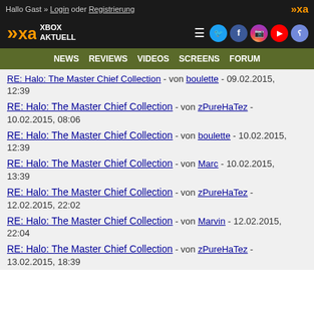Hallo Gast » Login oder Registrierung
[Figure (logo): Xbox Aktuell logo with XA symbol and social media icons]
NEWS  REVIEWS  VIDEOS  SCREENS  FORUM
RE: Halo: The Master Chief Collection - von [truncated] - [date], 12:39
RE: Halo: The Master Chief Collection - von zPureHaTez - 10.02.2015, 08:06
RE: Halo: The Master Chief Collection - von boulette - 10.02.2015, 12:39
RE: Halo: The Master Chief Collection - von Marc - 10.02.2015, 13:39
RE: Halo: The Master Chief Collection - von zPureHaTez - 12.02.2015, 22:02
RE: Halo: The Master Chief Collection - von Marvin - 12.02.2015, 22:04
RE: Halo: The Master Chief Collection - von zPureHaTez - 13.02.2015, 18:39